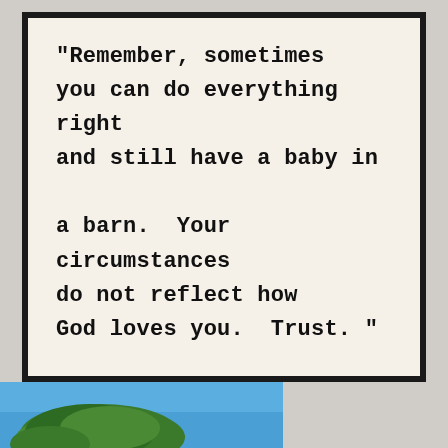[Figure (illustration): White card with black border containing a quote in bold monospace font: "Remember, sometimes you can do everything right and still have a baby in a barn. Your circumstances do not reflect how God loves you. Trust." attributed to @brian_miller15]
[Figure (photo): Partial photo at bottom of page showing top of a green tree against a blue sky]